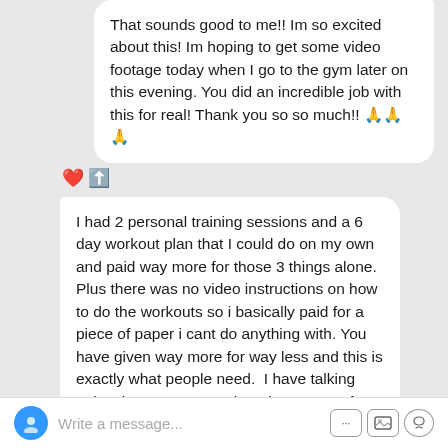That sounds good to me!! Im so excited about this! Im hoping to get some video footage today when I go to the gym later on this evening. You did an incredible job with this for real! Thank you so so much!! 🙏🙏🙏
I had 2 personal training sessions and a 6 day workout plan that I could do on my own and paid way more for those 3 things alone. Plus there was no video instructions on how to do the workouts so i basically paid for a piece of paper i cant do anything with. You have given way more for way less and this is exactly what people need. I have talking points i wanna stress about how great of a deal this is at $47 or $97. 👌👌👌
Write a message...